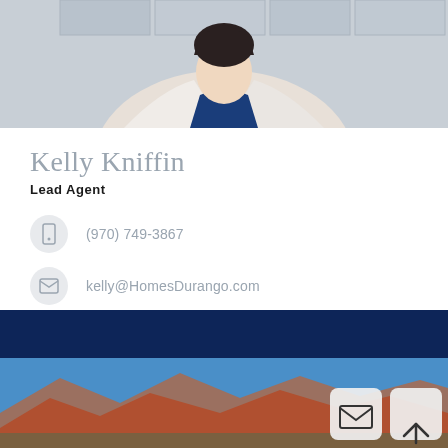[Figure (photo): Professional headshot of Kelly Kniffin in a white blazer and dark blue top against a light stone wall background, photo is cropped showing upper body]
Kelly Kniffin
Lead Agent
(970) 749-3867
kelly@HomesDurango.com
MY LATEST LISTINGS
[Figure (photo): Landscape photo showing mountain range with reddish-brown mountains under a clear blue sky]